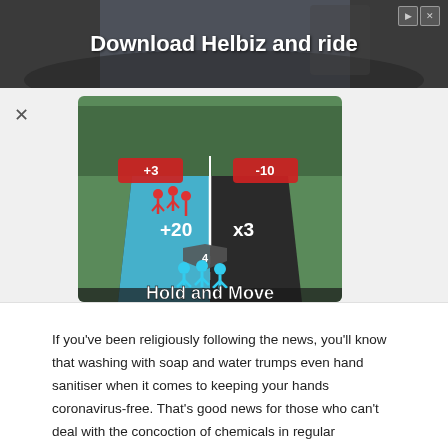[Figure (screenshot): Advertisement banner: 'Download Helbiz and ride' with a person on an e-scooter in the background. Has play and close icons in top right.]
[Figure (screenshot): Game advertisement for 'Hold and Move' mobile game showing a runner/crowd game with blue stick figures, score multipliers (+20, x3), opponents (+3, -10), and a road track setting.]
If you've been religiously following the news, you'll know that washing with soap and water trumps even hand sanitiser when it comes to keeping your hands coronavirus-free. That's good news for those who can't deal with the concoction of chemicals in regular antibacterial soaps because ordinary